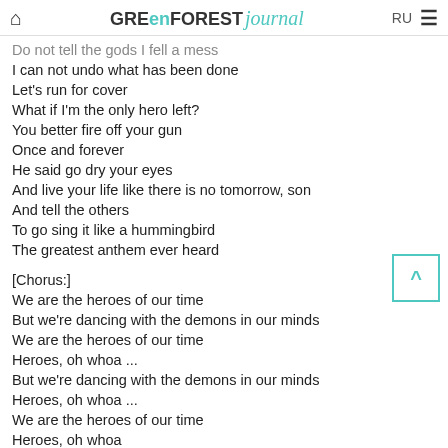GREenFORESTjournal RU
Do not tell the gods I fell a mess
I can not undo what has been done
Let's run for cover
What if I'm the only hero left?
You better fire off your gun
Once and forever
He said go dry your eyes
And live your life like there is no tomorrow, son
And tell the others
To go sing it like a hummingbird
The greatest anthem ever heard
[Chorus:]
We are the heroes of our time
But we're dancing with the demons in our minds
We are the heroes of our time
Heroes, oh whoa ...
But we're dancing with the demons in our minds
Heroes, oh whoa ...
We are the heroes of our time
Heroes, oh whoa